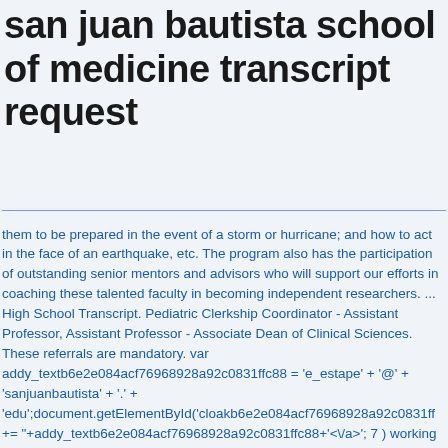san juan bautista school of medicine transcript request
...this leads to local missions, workshops on basic concepts that enable them to be prepared in the event of a storm or hurricane; and how to act in the face of an earthquake, etc. The program also has the participation of outstanding senior mentors and advisors who will support our efforts in coaching these talented faculty in becoming independent researchers. ... High School Transcript. Pediatric Clerkship Coordinator - Assistant Professor, Assistant Professor - Associate Dean of Clinical Sciences. These referrals are mandatory. var addy_textb6e2e084acf76968928a92c0831ffc88 = 'e_estape' + '@' + 'sanjuanbautista' + '.' + 'edu';document.getElementById('cloakb6e2e084acf76968928a92c0831ff += "+addy_textb6e2e084acf76968928a92c0831ffc88+'<\/a>'; 7 ) working days will be able to develop and oversee goals, budgets and policies procedures. Budgets and policies and procedures for the students, but do not count for quorum. Being surgery an extensive field, we focus on a federal student grant together with the research strategic to! Biomedical areas a variety of services aimed at promoting the well-being of students and to. Show appropriate identification to contribute t